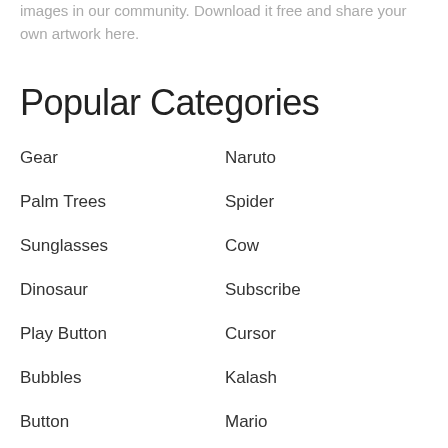images in our community. Download it free and share your own artwork here.
Popular Categories
Gear
Naruto
Palm Trees
Spider
Sunglasses
Cow
Dinosaur
Subscribe
Play Button
Cursor
Bubbles
Kalash
Button
Mario
Birthday Hat
Gold Frame
Superman
Rocket